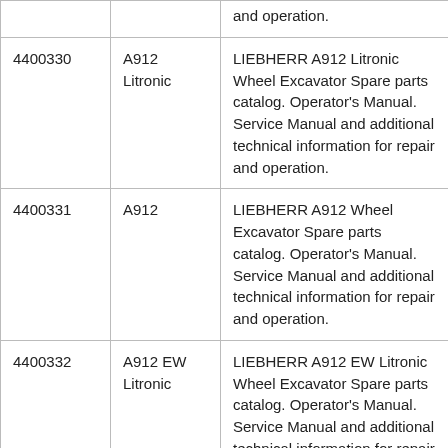|  |  | and operation. |
| 4400330 | A912 Litronic | LIEBHERR A912 Litronic Wheel Excavator Spare parts catalog. Operator's Manual. Service Manual and additional technical information for repair and operation. |
| 4400331 | A912 | LIEBHERR A912 Wheel Excavator Spare parts catalog. Operator's Manual. Service Manual and additional technical information for repair and operation. |
| 4400332 | A912 EW Litronic | LIEBHERR A912 EW Litronic Wheel Excavator Spare parts catalog. Operator's Manual. Service Manual and additional technical information for repair and operation. |
| 4400333 | A914 Litronic | LIEBHERR A914 Litronic Wheel Excavator Spare parts catalog. Operator's Manual. Service Manual and additional technical information for repair and operation. |